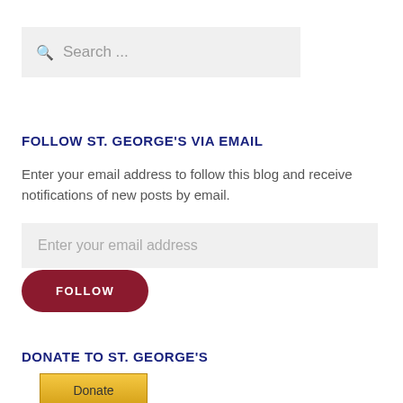Search ...
FOLLOW ST. GEORGE'S VIA EMAIL
Enter your email address to follow this blog and receive notifications of new posts by email.
Enter your email address
FOLLOW
DONATE TO ST. GEORGE'S
Donate